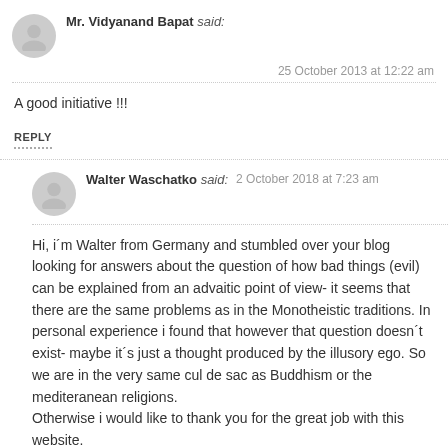Mr. Vidyanand Bapat said:
25 October 2013 at 12:22 am
A good initiative !!!
REPLY
Walter Waschatko said: 2 October 2018 at 7:23 am
Hi, i´m Walter from Germany and stumbled over your blog looking for answers about the question of how bad things (evil) can be explained from an advaitic point of view- it seems that there are the same problems as in the Monotheistic traditions. In personal experience i found that however that question doesn´t exist- maybe it´s just a thought produced by the illusory ego. So we are in the very same cul de sac as Buddhism or the mediteranean religions.
Otherwise i would like to thank you for the great job with this website.